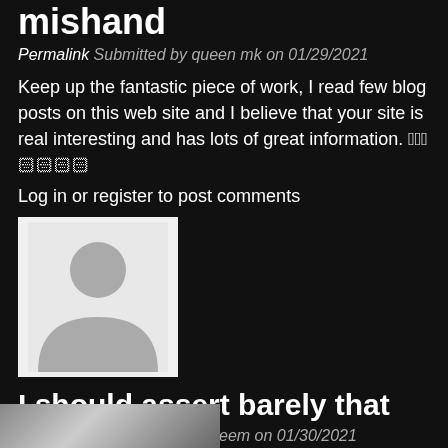mishand
Permalink Submitted by queen mk on 01/29/2021
Keep up the fantastic piece of work, I read few blog posts on this web site and I believe that your site is real interesting and has lots of great information. 🏻🏻🏻🏻🏻🏻🏻
Log in or register to post comments
[Figure (photo): Default user avatar placeholder - grey silhouette on light background]
I should assert barely that
Permalink Submitted by Faheem on 01/30/2021
I should assert barely that its astounding! The blog is informational also always fabricate amazing entitys. manipur matka
Log in or register to post comments
[Figure (photo): Partial image visible at bottom of page]